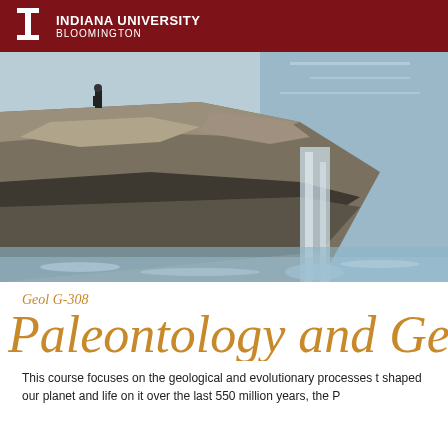Indiana University Bloomington
[Figure (photo): Photograph of layered rock formations with water flowing over and around them; a person is visible standing on the rocks in the background.]
Geol G-308
Paleontology and Geology
This course focuses on the geological and evolutionary processes that shaped our planet and life on it over the last 550 million years, the P…